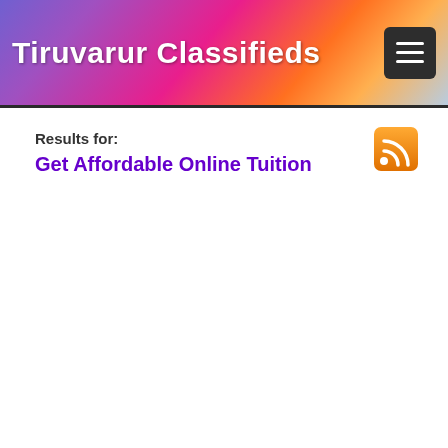Tiruvarur Classifieds
Results for:
Get Affordable Online Tuition
[Figure (logo): RSS feed icon — orange rounded square with white RSS signal arcs]